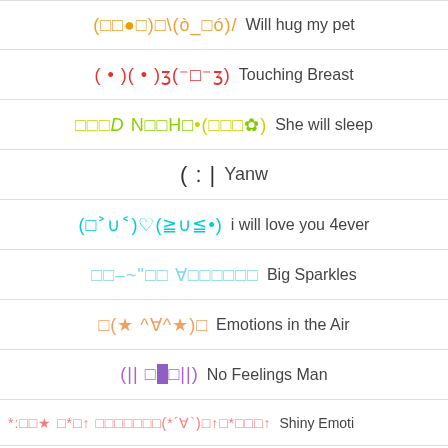(□□●□)□\(ò_□ó)/ Will hug my pet
( • )( • )ʒ(⁻□⁻ʒ) Touching Breast
□□□D N□□H□•(□□□✿) She will sleep
( : | Yanw
(□˃∪˂)♡(≧∪≦•) i will love you 4ever
□□–~"□□ ∀□□□□□□ Big Sparkles
□(★ ^∀^★)□ Emotions in the Air
(|| □■□||) No Feelings Man
*:□□★ □*□↑ □□□□□□□(*´∀`)□↑□*□□□↑ Shiny Emoti